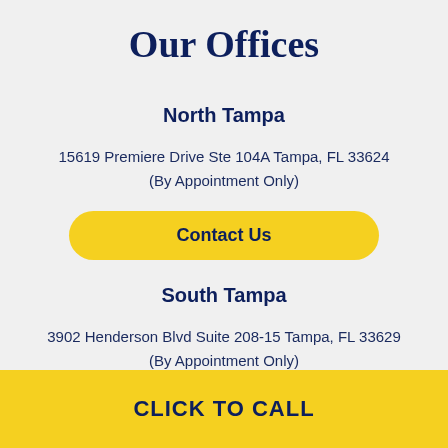Our Offices
North Tampa
15619 Premiere Drive Ste 104A Tampa, FL 33624
(By Appointment Only)
Contact Us
South Tampa
3902 Henderson Blvd Suite 208-15 Tampa, FL 33629
(By Appointment Only)
CLICK TO CALL